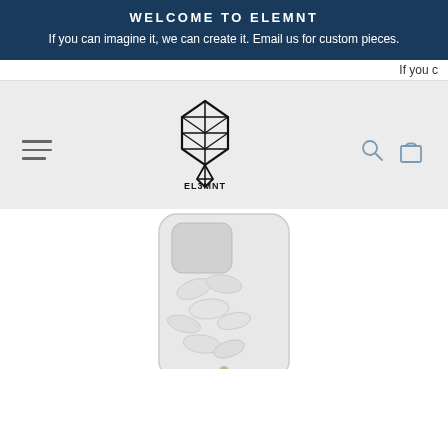WELCOME TO ELEMNT
If you can imagine it, we can create it. Email us for custom pieces.
If you c…
[Figure (logo): ELEMNT brand logo with geometric faceted shield shape above the text EL3MNT, navigation hamburger menu on left, search and shopping bag icons on right, on light gray background]
[Figure (photo): White/clear iPhone case with textured snake or python skin pattern, shown on white background]